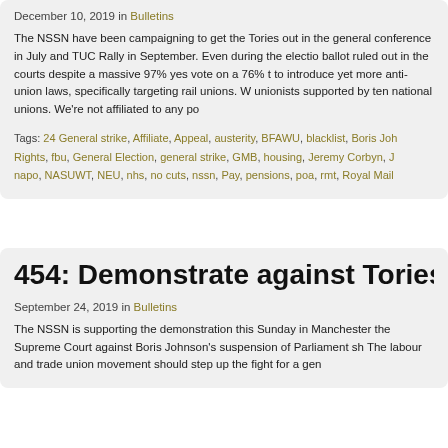December 10, 2019 in Bulletins
The NSSN have been campaigning to get the Tories out in the general conference in July and TUC Rally in September. Even during the election ballot ruled out in the courts despite a massive 97% yes vote on a 76% t to introduce yet more anti-union laws, specifically targeting rail unions. W unionists supported by ten national unions. We're not affiliated to any po
Tags: 24 General strike, Affiliate, Appeal, austerity, BFAWU, blacklist, Boris Jo Rights, fbu, General Election, general strike, GMB, housing, Jeremy Corbyn, J napo, NASUWT, NEU, nhs, no cuts, nssn, Pay, pensions, poa, rmt, Royal Mai
454: Demonstrate against Tories in M
September 24, 2019 in Bulletins
The NSSN is supporting the demonstration this Sunday in Manchester the Supreme Court against Boris Johnson's suspension of Parliament sh The labour and trade union movement should step up the fight for a gen